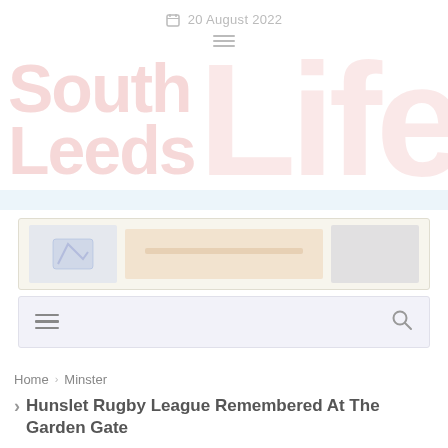20 August 2022
[Figure (logo): South Leeds Life logo — 'South Leeds' in bold red/pink text and 'Life' in large bold red/pink display font]
[Figure (other): Advertisement banner]
[Figure (other): Navigation menu bar with hamburger icon and search icon]
Home > Minster
Hunslet Rugby League Remembered At The Garden Gate